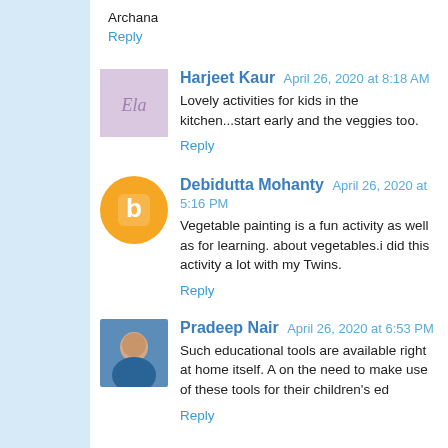Archana
Reply
Harjeet Kaur  April 26, 2020 at 8:18 AM
Lovely activities for kids in the kitchen...start early and the veggies too.
Reply
Debidutta Mohanty  April 26, 2020 at 5:16 PM
Vegetable painting is a fun activity as well as for learning. about vegetables.i did this activity a lot with my Twins.
Reply
Pradeep Nair  April 26, 2020 at 6:53 PM
Such educational tools are available right at home itself. A on the need to make use of these tools for their children's ed
Reply